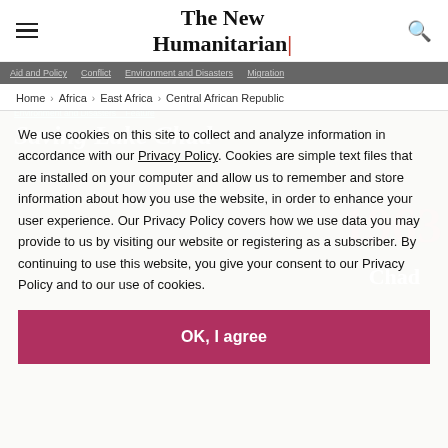The New Humanitarian
Aid and Policy   Conflict   Environment and Disasters   Migration
Home › Africa › East Africa › Central African Republic
We use cookies on this site to collect and analyze information in accordance with our Privacy Policy. Cookies are simple text files that are installed on your computer and allow us to remember and store information about how you use the website, in order to enhance your user experience. Our Privacy Policy covers how we use data you may provide to us by visiting our website or registering as a subscriber. By continuing to use this website, you give your consent to our Privacy Policy and to our use of cookies.
OK, I agree